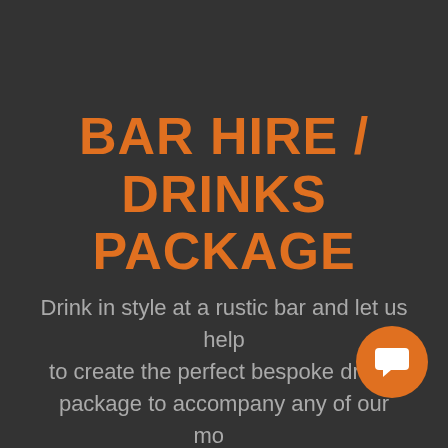BAR HIRE / DRINKS PACKAGE
Drink in style at a rustic bar and let us help to create the perfect bespoke drinks package to accompany any of our mouth watering food options. Offering a wide